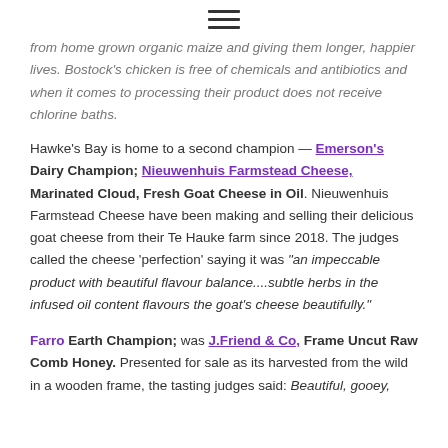≡ (hamburger menu icon)
from home grown organic maize and giving them longer, happier lives. Bostock's chicken is free of chemicals and antibiotics and when it comes to processing their product does not receive chlorine baths.
Hawke's Bay is home to a second champion — Emerson's Dairy Champion; Nieuwenhuis Farmstead Cheese, Marinated Cloud, Fresh Goat Cheese in Oil. Nieuwenhuis Farmstead Cheese have been making and selling their delicious goat cheese from their Te Hauke farm since 2018. The judges called the cheese 'perfection' saying it was "an impeccable product with beautiful flavour balance....subtle herbs in the infused oil content flavours the goat's cheese beautifully."
Farro Earth Champion; was J.Friend & Co, Frame Uncut Raw Comb Honey. Presented for sale as its harvested from the wild in a wooden frame, the tasting judges said: Beautiful, gooey,